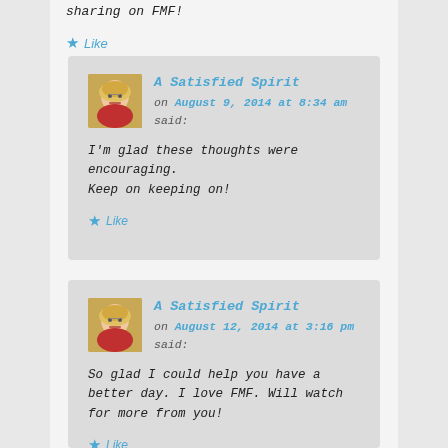sharing on FMF!
★ Like
A Satisfied Spirit on August 9, 2014 at 8:34 am said: I'm glad these thoughts were encouraging. Keep on keeping on!
★ Like
A Satisfied Spirit on August 12, 2014 at 3:16 pm said: So glad I could help you have a better day. I love FMF. Will watch for more from you!
★ Like